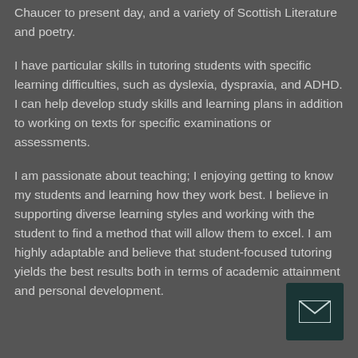Chaucer to present day, and a variety of Scottish Literature and poetry.
I have particular skills in tutoring students with specific learning difficulties, such as dyslexia, dyspraxia, and ADHD. I can help develop study skills and learning plans in addition to working on texts for specific examinations or assessments.
I am passionate about teaching; I enjoying getting to know my students and learning how they work best. I believe in supporting diverse learning styles and working with the student to find a method that will allow them to excel. I am highly adaptable and believe that student-focused tutoring yields the best results both in terms of academic attainment and personal development.
[Figure (other): Email contact button icon - dark teal square with envelope/mail icon]